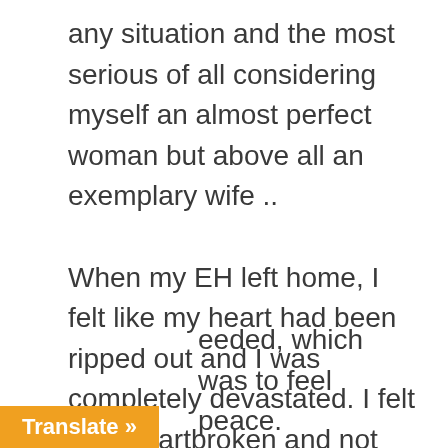any situation and the most serious of all considering myself an almost perfect woman but above all an exemplary wife ..

When my EH left home, I felt like my heart had been ripped out and I was completely devastated. I felt lost, heartbroken and not knowing what to do. At work a colleague suggested for  me to go to her church and speak with her  pastor.  A few days later I attended church and I approached the pastor and his wife but I received an opposite response to what I needed, which was to feel peace.
Translate »